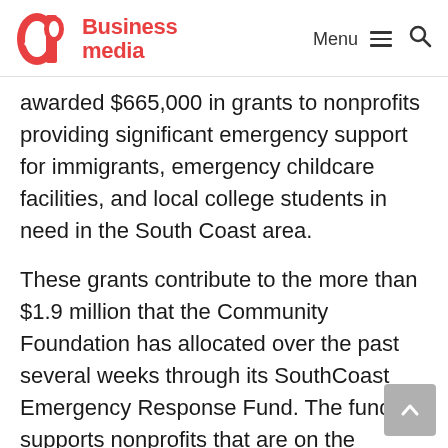C&P Business media | Menu | Search
awarded $665,000 in grants to nonprofits providing significant emergency support for immigrants, emergency childcare facilities, and local college students in need in the South Coast area.
These grants contribute to the more than $1.9 million that the Community Foundation has allocated over the past several weeks through its SouthCoast Emergency Response Fund. The fund supports nonprofits that are on the frontlines serving those in our region most severely affected by the COVID-19 pandemic.
Of the grants made, more than $130,000 was